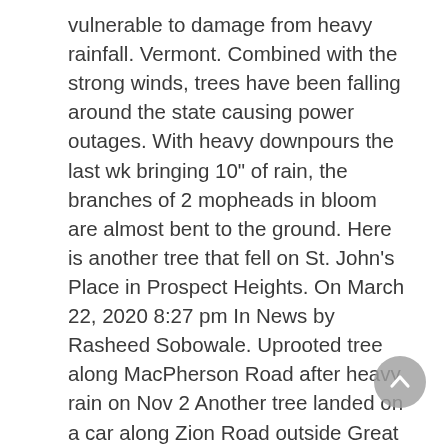vulnerable to damage from heavy rainfall. Vermont. Combined with the strong winds, trees have been falling around the state causing power outages. With heavy downpours the last wk bringing 10" of rain, the branches of 2 mopheads in bloom are almost bent to the ground. Here is another tree that fell on St. John's Place in Prospect Heights. On March 22, 2020 8:27 pm In News by Rasheed Sobowale. Uprooted tree along MacPherson Road after heavy rain on Nov 2 Another tree landed on a car along Zion Road outside Great World City at 5.40pm and was cleared at around 6.15pm. The main line of rain will be along the cold front ROUND 3: LIGHT SHOWERS, MIDNIGHT – SAT 10 AM After the cold front passes through, there may be a … The 150-year-old horse chestnut that brought comfort to Anne Frank as she hid from the Nazis in World War Two has toppled in high winds and heavy rain. Wednesday morning, Paris Public Works employees close the street across the …